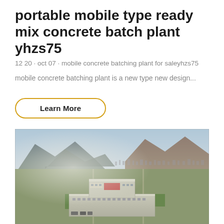portable mobile type ready mix concrete batch plant yhzs75
12 20 · oct 07 · mobile concrete batching plant for saleyhzs75
mobile concrete batching plant is a new type new design...
Learn More
[Figure (photo): Aerial view of a large industrial or governmental building complex surrounded by green lawns and roads, with mountains and a town visible in the background under a hazy sky.]